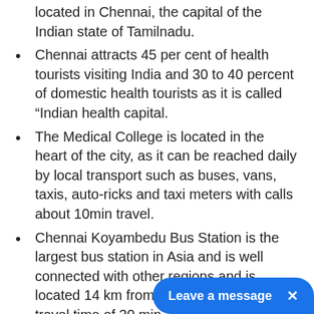located in Chennai, the capital of the Indian state of Tamilnadu.
Chennai attracts 45 per cent of health tourists visiting India and 30 to 40 percent of domestic health tourists as it is called “Indian health capital.
The Medical College is located in the heart of the city, as it can be reached daily by local transport such as buses, vans, taxis, auto-ricks and taxi meters with calls about 10min travel.
Chennai Koyambedu Bus Station is the largest bus station in Asia and is well connected with other regions and is located 14 km from the college with a travel time of 30 min.
The city has a large